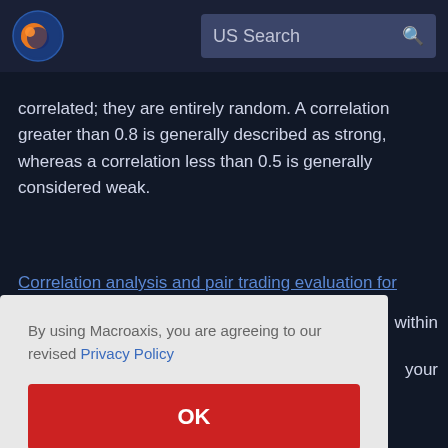US Search
correlated; they are entirely random. A correlation greater than 0.8 is generally described as strong, whereas a correlation less than 0.5 is generally considered weak.
Correlation analysis and pair trading evaluation for
within
By using Macroaxis, you are agreeing to our revised Privacy Policy
your
OK